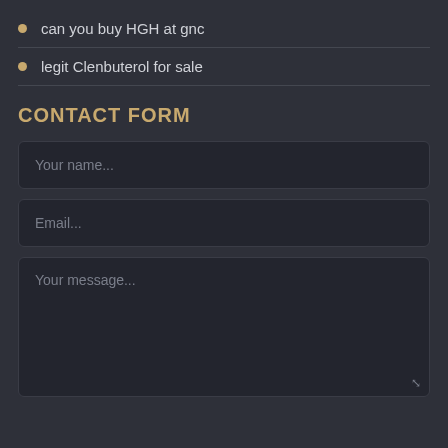can you buy HGH at gnc
legit Clenbuterol for sale
CONTACT FORM
Your name...
Email...
Your message...